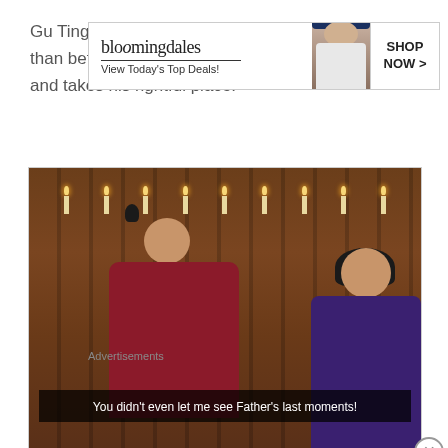Gu Ting Ye's is back. More powerful and revered than before. He triumphantly returns to Gu Manor and takes his rightful place.
[Figure (screenshot): Video screenshot from a Chinese historical drama showing a man in a red robe facing a woman seen from behind, with candles in the background. Subtitle reads: 'You didn't even let me see Father's last moments!']
Advertisements
[Figure (other): Bloomingdale's advertisement banner with text 'bloomingdales' and 'View Today's Top Deals!' with a woman in a wide-brim hat and a 'SHOP NOW >' button]